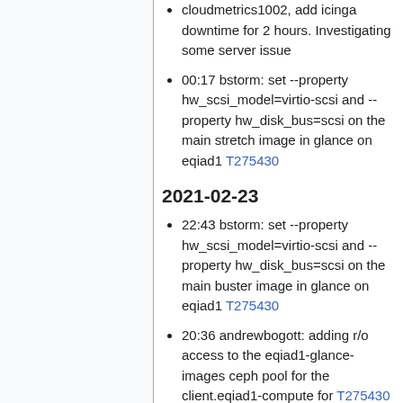cloudmetrics1002, add icinga downtime for 2 hours. Investigating some server issue
00:17 bstorm: set --property hw_scsi_model=virtio-scsi and --property hw_disk_bus=scsi on the main stretch image in glance on eqiad1 T275430
2021-02-23
22:43 bstorm: set --property hw_scsi_model=virtio-scsi and --property hw_disk_bus=scsi on the main buster image in glance on eqiad1 T275430
20:36 andrewbogott: adding r/o access to the eqiad1-glance-images ceph pool for the client.eqiad1-compute for T275430
10:49 arturo: rebooting clounet1004